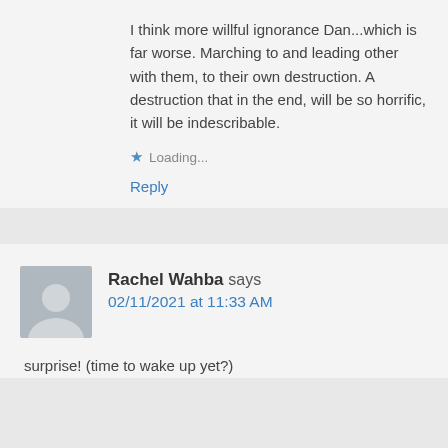I think more willful ignorance Dan...which is far worse. Marching to and leading other with them, to their own destruction. A destruction that in the end, will be so horrific, it will be indescribable.
Loading...
Reply
Rachel Wahba says
02/11/2021 at 11:33 AM
surprise! (time to wake up yet?)